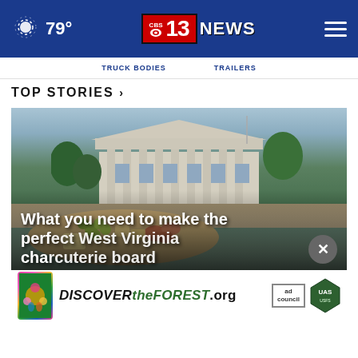79° | 13 NEWS
TRUCK BODIES   TRAILERS
TOP STORIES ›
[Figure (photo): Photo of a neoclassical building (state capitol or courthouse) viewed across a river, with trees on both sides. In the foreground is a charcuterie/food board with grapes and meats. An ad banner for DISCOVERtheFOREST.org overlays the bottom. Headline text reads: 'What you need to make the perfect West Virginia charcuterie board']
What you need to make the perfect West Virginia charcuterie board